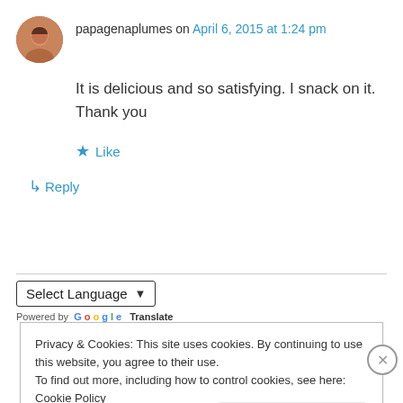papagenaplumes on April 6, 2015 at 1:24 pm
It is delicious and so satisfying. I snack on it. Thank you
★ Like
↳ Reply
Select Language
Powered by Google Translate
Privacy & Cookies: This site uses cookies. By continuing to use this website, you agree to their use. To find out more, including how to control cookies, see here: Cookie Policy
Close and accept